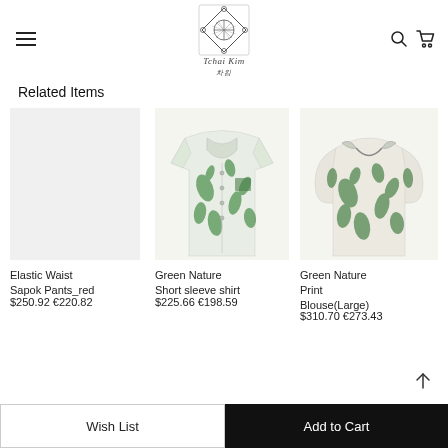Tchai Kim — brand logo with hamburger menu, search and cart icons
Related Items
[Figure (photo): Elastic Waist Sapok Pants_red product image placeholder (no image shown)]
Elastic Waist Sapok Pants_red
$250.92 €220.82
[Figure (photo): Green Nature Short sleeve shirt — white shirt with green tropical/botanical print, short sleeve, camp collar]
Green Nature Short sleeve shirt
$225.66 €198.59
[Figure (photo): Green Nature Print Blouse(Large) — white blouse with green floral/botanical print, puff sleeves, tied neck]
Green Nature Print Blouse(Large)
$310.70 €273.43
Wish List | Add to Cart